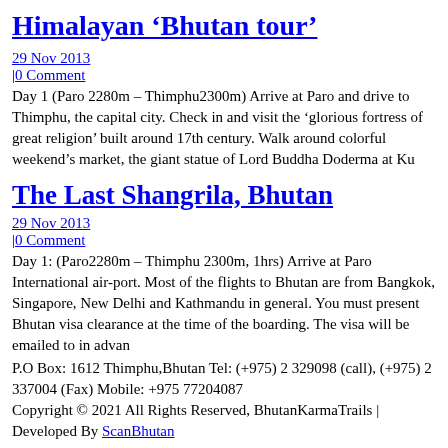Himalayan ‘Bhutan tour’
29 Nov 2013
|0 Comment
Day 1 (Paro 2280m – Thimphu2300m) Arrive at Paro and drive to Thimphu, the capital city. Check in and visit the ‘glorious fortress of great religion’ built around 17th century. Walk around colorful weekend’s market, the giant statue of Lord Buddha Doderma at Ku
The Last Shangrila, Bhutan
29 Nov 2013
|0 Comment
Day 1: (Paro2280m – Thimphu 2300m, 1hrs) Arrive at Paro International air-port. Most of the flights to Bhutan are from Bangkok, Singapore, New Delhi and Kathmandu in general. You must present Bhutan visa clearance at the time of the boarding. The visa will be emailed to in advan
P.O Box: 1612 Thimphu,Bhutan Tel: (+975) 2 329098 (call), (+975) 2 337004 (Fax) Mobile: +975 77204087
Copyright © 2021 All Rights Reserved, BhutanKarmaTrails | Developed By ScanBhutan